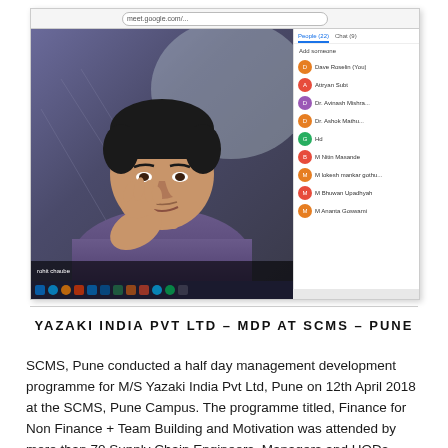[Figure (screenshot): Screenshot of a video conferencing session (Google Meet) showing a man presenting with his hand raised near his chin, with a participant list panel on the right showing multiple attendees. Browser chrome visible at top, taskbar at bottom.]
YAZAKI INDIA PVT LTD – MDP AT SCMS – PUNE
SCMS, Pune conducted a half day management development programme for M/S Yazaki India Pvt Ltd, Pune on 12th April 2018 at the SCMS, Pune Campus. The programme titled, Finance for Non Finance + Team Building and Motivation was attended by more than 70 Supply Chain Engineers, Managers and HODs. Participants gave an overall rating of 4.6 out of 5. The entire